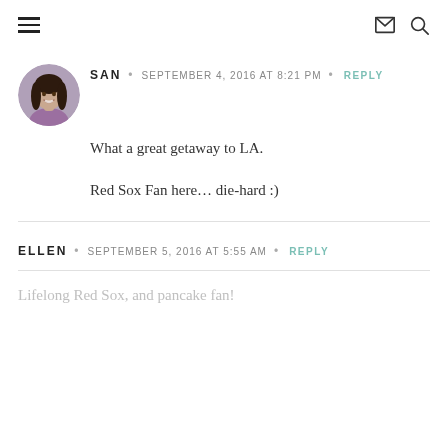Navigation header with hamburger menu, mail icon, and search icon
[Figure (photo): Circular avatar photo of a smiling woman with dark hair wearing a purple top]
SAN • SEPTEMBER 4, 2016 AT 8:21 PM • REPLY
What a great getaway to LA.
Red Sox Fan here… die-hard :)
ELLEN • SEPTEMBER 5, 2016 AT 5:55 AM • REPLY
Lifelong Red Sox, and pancake fan!